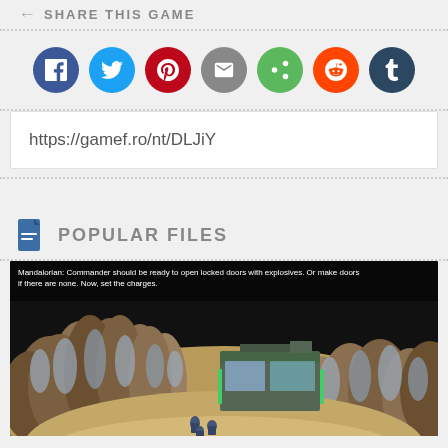SHARE THIS GAME
[Figure (infographic): Row of social share buttons: Facebook (blue), Twitter (cyan), Pinterest (red), Email (gray), Share (green), Reddit (orange), Tumblr (dark blue)]
https://gamef.ro/nt/DLJiY
POPULAR FILES
[Figure (screenshot): Game screenshot showing an isometric view of a military base surrounded by rocky terrain. Text overlay reads: Mandalorian: Commander should be ready to open locked doors with explosives. Or make doors if there are none. Now, set the charges.]